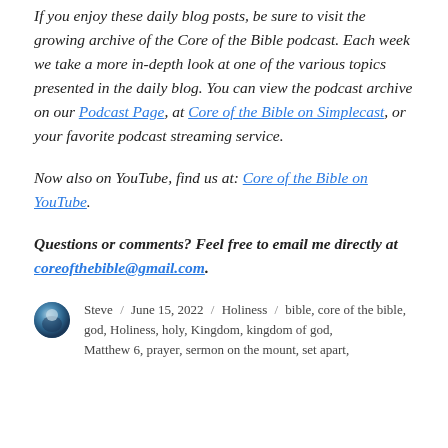If you enjoy these daily blog posts, be sure to visit the growing archive of the Core of the Bible podcast. Each week we take a more in-depth look at one of the various topics presented in the daily blog. You can view the podcast archive on our Podcast Page, at Core of the Bible on Simplecast, or your favorite podcast streaming service.
Now also on YouTube, find us at: Core of the Bible on YouTube.
Questions or comments? Feel free to email me directly at coreofthebible@gmail.com.
Steve / June 15, 2022 / Holiness / bible, core of the bible, god, Holiness, holy, Kingdom, kingdom of god, Matthew 6, prayer, sermon on the mount, set apart,